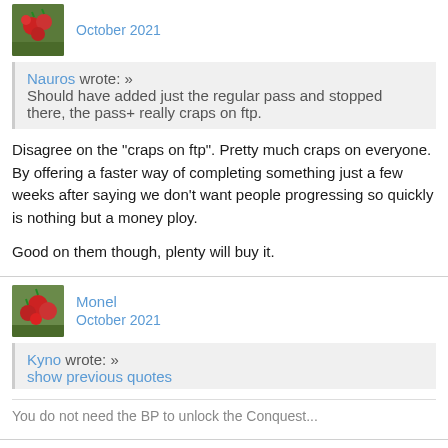[Figure (photo): User avatar thumbnail showing strawberries]
October 2021
Nauros wrote: »
Should have added just the regular pass and stopped there, the pass+ really craps on ftp.
Disagree on the "craps on ftp". Pretty much craps on everyone. By offering a faster way of completing something just a few weeks after saying we don't want people progressing so quickly is nothing but a money ploy.

Good on them though, plenty will buy it.
[Figure (photo): User avatar thumbnail showing berries]
Monel
October 2021
Kyno wrote: »
show previous quotes
You do not need the BP to unlock the Conquest...